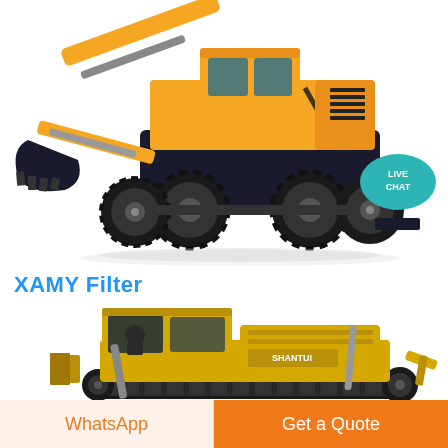[Figure (photo): Orange wheeled excavator with bucket arm extended to the left, large black rubber tires, cab with dark glass windows, viewed from the side on white background. A teal 'LIVE CHAT' speech bubble badge is visible in the upper right area.]
XAMY Filter
[Figure (photo): Yellow Shantui bulldozer with cab, blade attachment in front, viewed from the front-left angle on white background. Label 'SHANTUI' visible on the side of the machine.]
WhatsApp
Get a Quote